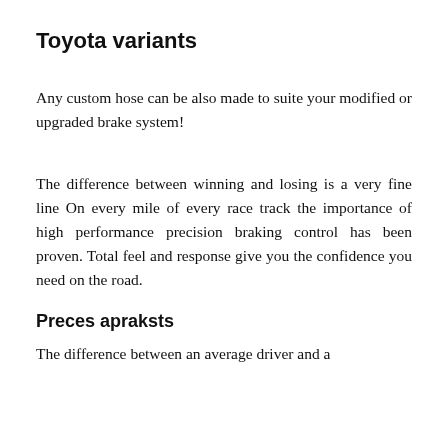Toyota variants
Any custom hose can be also made to suite your modified or upgraded brake system!
The difference between winning and losing is a very fine line On every mile of every race track the importance of high performance precision braking control has been proven. Total feel and response give you the confidence you need on the road.
Preces apraksts
The difference between an average driver and a